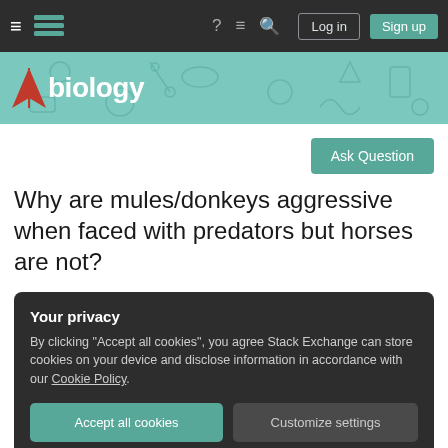Biology Stack Exchange — navigation bar with Log in and Sign up buttons
[Figure (logo): Biology Stack Exchange banner with teal background, science icons pattern, and 'biology' logo text with red lightning bolt arrow]
Ask Question
Why are mules/donkeys aggressive when faced with predators but horses are not?
Your privacy
By clicking "Accept all cookies", you agree Stack Exchange can store cookies on your device and disclose information in accordance with our Cookie Policy.
Accept all cookies
Customize settings
pet and farm animal owners likes to have